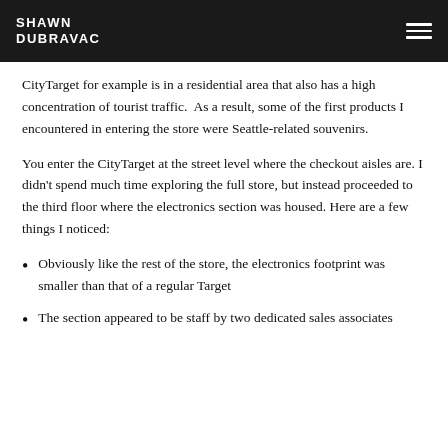SHAWN DUBRAVAC
CityTarget for example is in a residential area that also has a high concentration of tourist traffic.  As a result, some of the first products I encountered in entering the store were Seattle-related souvenirs.
You enter the CityTarget at the street level where the checkout aisles are. I didn't spend much time exploring the full store, but instead proceeded to the third floor where the electronics section was housed. Here are a few things I noticed:
Obviously like the rest of the store, the electronics footprint was smaller than that of a regular Target
The section appeared to be staff by two dedicated sales associates